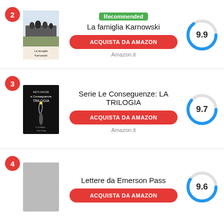[Figure (screenshot): Rank 2 item: Book cover for La famiglia Karnowski with Recommended badge, score 9.9, and buy button]
[Figure (screenshot): Rank 3 item: Book cover for Serie Le Conseguenze: LA TRILOGIA, score 9.7, and buy button]
[Figure (screenshot): Rank 4 item: Lettere da Emerson Pass, score 9.6, and buy button]